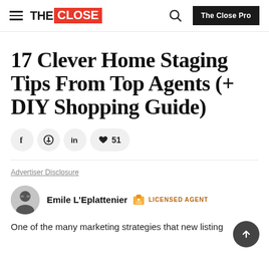THE CLOSE | The Close Pro
17 Clever Home Staging Tips From Top Agents (+ DIY Shopping Guide)
Advertiser Disclosure
Emile L'Eplattenier  LICENSED AGENT
One of the many marketing strategies that new listing